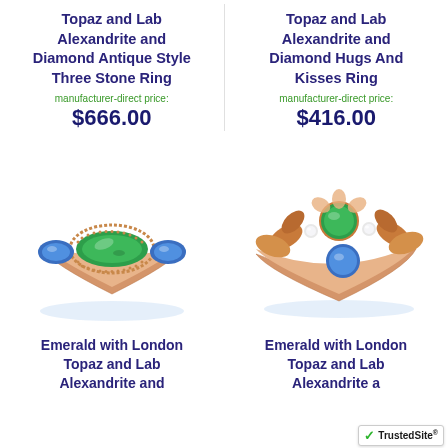Topaz and Lab Alexandrite and Diamond Antique Style Three Stone Ring
manufacturer-direct price:
$666.00
Topaz and Lab Alexandrite and Diamond Hugs And Kisses Ring
manufacturer-direct price:
$416.00
[Figure (photo): Rose gold ring with marquise green emerald center stone and blue topaz side stones in antique milgrain style setting]
[Figure (photo): Rose gold ring with floral leaf design, round green emerald top stone, blue topaz and diamond accent stones]
Emerald with London Topaz and Lab Alexandrite and
Emerald with London Topaz and Lab Alexandrite a